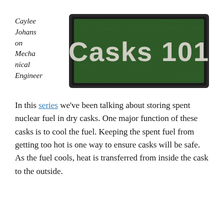Caylee Johnson Mechanical Engineer
[Figure (photo): Green chalkboard-style sign with white text reading 'Casks 101', framed in dark gray/black border]
In this series we've been talking about storing spent nuclear fuel in dry casks. One major function of these casks is to cool the fuel. Keeping the spent fuel from getting too hot is one way to ensure casks will be safe. As the fuel cools, heat is transferred from inside the cask to the outside.